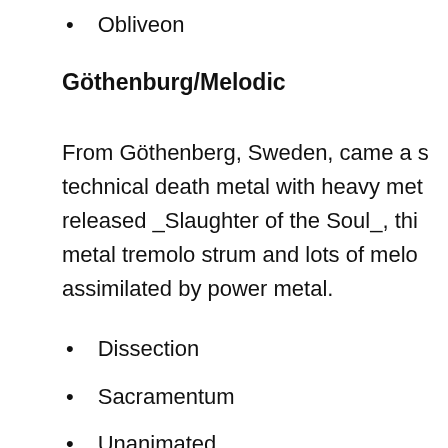Obliveon
Göthenburg/Melodic
From Göthenberg, Sweden, came a s technical death metal with heavy met released _Slaughter of the Soul_, thi metal tremolo strum and lots of melo assimilated by power metal.
Dissection
Sacramentum
Unanimated